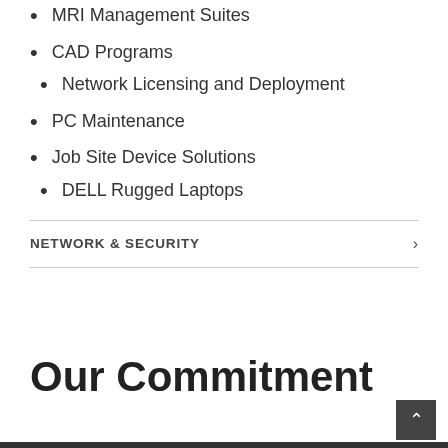MRI Management Suites
CAD Programs
Network Licensing and Deployment
PC Maintenance
Job Site Device Solutions
DELL Rugged Laptops
NETWORK & SECURITY
Our Commitment